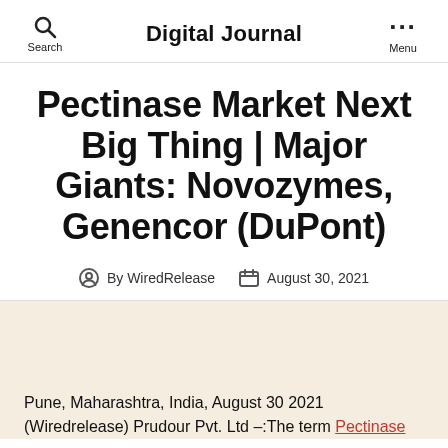Digital Journal
Pectinase Market Next Big Thing | Major Giants: Novozymes, Genencor (DuPont)
By WiredRelease   August 30, 2021
Pune, Maharashtra, India, August 30 2021 (Wiredrelease) Prudour Pvt. Ltd –:The term Pectinase